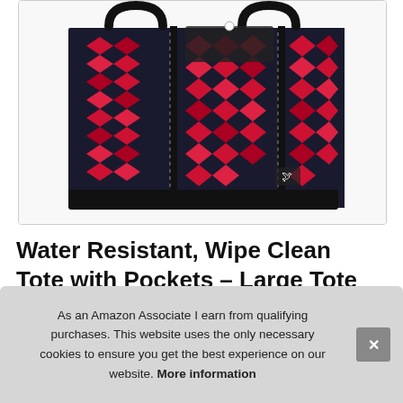[Figure (photo): A large tote bag with red and dark navy geometric diamond/rhombus pattern fabric, black handles and trim, front pockets visible, small bird logo on lower right corner. Shown on white background inside a rounded-corner box.]
Water Resistant, Wipe Clean Tote with Pockets – Large Tote Bag for Travel, St... Ba... Pa...
As an Amazon Associate I earn from qualifying purchases. This website uses the only necessary cookies to ensure you get the best experience on our website. More information